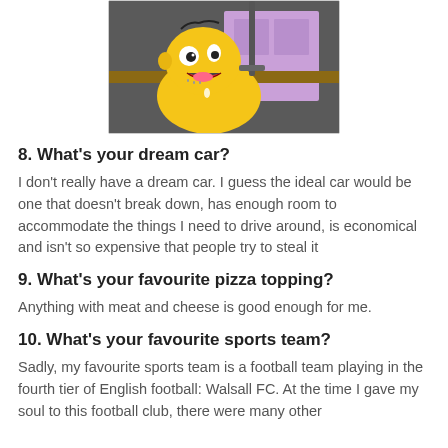[Figure (illustration): Cartoon image of Homer Simpson drooling, appearing to be near a sink or faucet, with a purple cabinet in the background. The scene is set in what appears to be a kitchen.]
8. What's your dream car?
I don't really have a dream car. I guess the ideal car would be one that doesn't break down, has enough room to accommodate the things I need to drive around, is economical and isn't so expensive that people try to steal it
9. What's your favourite pizza topping?
Anything with meat and cheese is good enough for me.
10. What's your favourite sports team?
Sadly, my favourite sports team is a football team playing in the fourth tier of English football: Walsall FC. At the time I gave my soul to this football club, there were many other